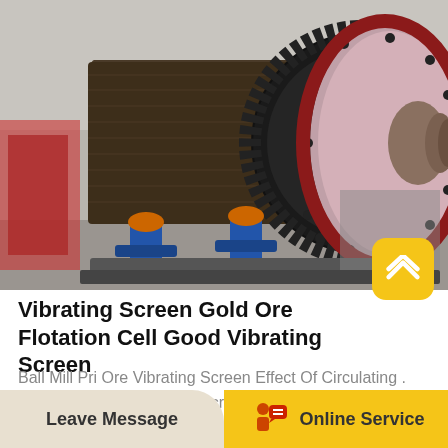[Figure (photo): Large industrial ball mill machine photographed in a factory setting. The cylindrical drum is dark brown/black with a large gear ring on the right side, mounted on blue metal supports.]
Vibrating Screen Gold Ore Flotation Cell Good Vibrating Screen
Ball Mill Pri Ore Vibrating Screen Effect Of Circulating . Ball Mill Pri Ore Vibrating Screen. Effect Of Circulating Load And Classification Efficiency The ball mill is the most common ore grinding technology